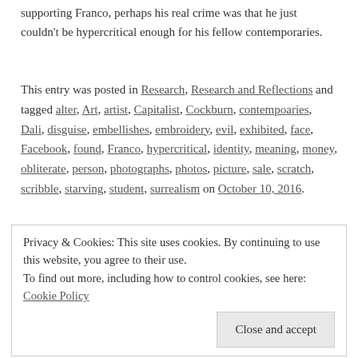supporting Franco, perhaps his real crime was that he just couldn't be hypercritical enough for his fellow contemporaries.
This entry was posted in Research, Research and Reflections and tagged alter, Art, artist, Capitalist, Cockburn, contempoaries, Dali, disguise, embellishes, embroidery, evil, exhibited, face, Facebook, found, Franco, hypercritical, identity, meaning, money, obliterate, person, photographs, photos, picture, sale, scratch, scribble, starving, student, surrealism on October 10, 2016.
Privacy & Cookies: This site uses cookies. By continuing to use this website, you agree to their use. To find out more, including how to control cookies, see here: Cookie Policy